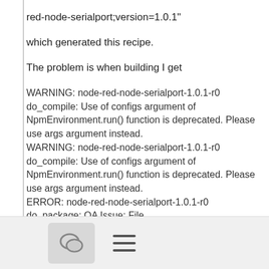red-node-serialport;version=1.0.1"
which generated this recipe.
The problem is when building I get
WARNING: node-red-node-serialport-1.0.1-r0 do_compile: Use of configs argument of NpmEnvironment.run() function is deprecated. Please use args argument instead.
WARNING: node-red-node-serialport-1.0.1-r0 do_compile: Use of configs argument of NpmEnvironment.run() function is deprecated. Please use args argument instead.
ERROR: node-red-node-serialport-1.0.1-r0 do_package: QA Issue: File '/usr/lib/node_modules/node-red-node-
[Figure (other): Bottom navigation bar with a chat/comment button icon (speech bubble) and a hamburger menu icon (three horizontal lines)]